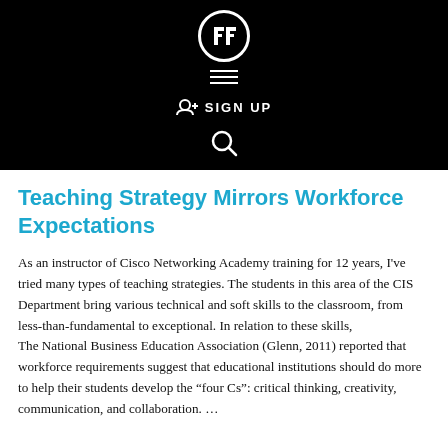SIGN UP
Teaching Strategy Mirrors Workforce Expectations
As an instructor of Cisco Networking Academy training for 12 years, I've tried many types of teaching strategies. The students in this area of the CIS Department bring various technical and soft skills to the classroom, from less-than-fundamental to exceptional. In relation to these skills, The National Business Education Association (Glenn, 2011) reported that workforce requirements suggest that educational institutions should do more to help their students develop the “four Cs”: critical thinking, creativity, communication, and collaboration. …